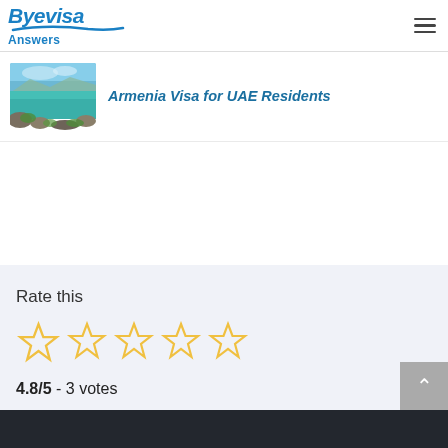Byevisa Answers
[Figure (photo): Thumbnail photo of Armenia landscape showing turquoise lake water with rocky shoreline and blue sky]
Armenia Visa for UAE Residents
Rate this
[Figure (other): Five empty gold/yellow star rating icons]
4.8/5 - 3 votes